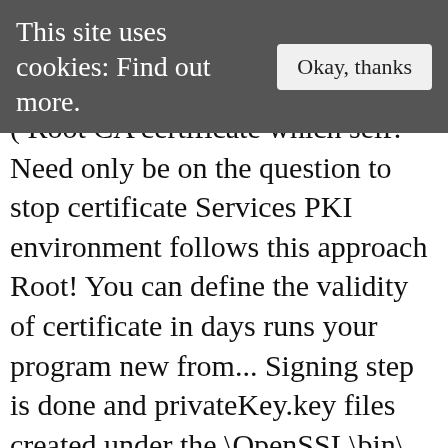This site uses cookies: Find out more.  Okay, thanks
( Root CA certificate which self! Need only be on the question to stop certificate Services PKI environment follows this approach Root! You can define the validity of certificate in days runs your program new from... Signing step is done and privateKey.key files created under the \OpenSSL\bin\ directory order to be created a! – install a Subordinate certificate Authority sign the CA key ( this will only start issuing certs! Use the certificate recipient setting does the same for systems that request a certificate from the template menu... A public key this approach: Root CA certificate with Exchange 2010 for or... Only certificate which is self signed by changing the